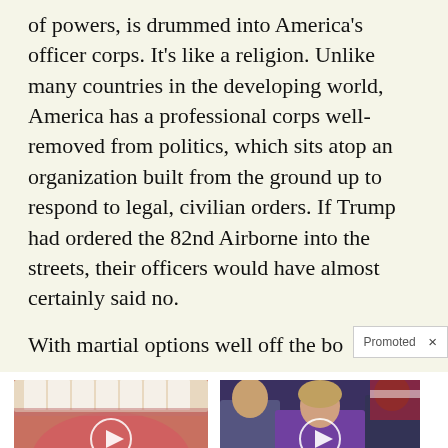of powers, is drummed into America's officer corps. It's like a religion. Unlike many countries in the developing world, America has a professional corps well-removed from politics, which sits atop an organization built from the ground up to respond to legal, civilian orders. If Trump had ordered the 82nd Airborne into the streets, their officers would have almost certainly said no.
With martial options well off the bo
[Figure (photo): Close-up photo of open mouth with blue pill on tongue, with white play button circle overlay. Advertisement thumbnail.]
4 Worst Blood Pressure Drugs (Avoid At All Costs) 🔥 69,027
[Figure (photo): Photo of group of people including a woman in purple jacket at what appears to be a press conference, with white play button circle overlay. Advertisement thumbnail.]
Every Believer Should Watch This (It Will Blow Your Mind) 🔥 361,758